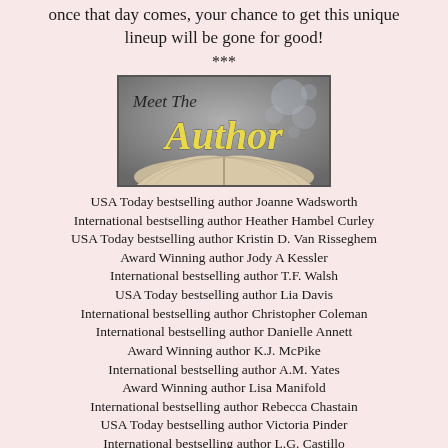once that day comes, your chance to get this unique lineup will be gone for good!
***
[Figure (illustration): Meet The Author banner image with cursive text on a grey bokeh background with an open book at bottom]
USA Today bestselling author Joanne Wadsworth
International bestselling author Heather Hambel Curley
USA Today bestselling author Kristin D. Van Risseghem
Award Winning author Jody A Kessler
International bestselling author T.F. Walsh
USA Today bestselling author Lia Davis
International bestselling author Christopher Coleman
International bestselling author Danielle Annett
Award Winning author K.J. McPike
International bestselling author A.M. Yates
Award Winning author Lisa Manifold
International bestselling author Rebecca Chastain
USA Today bestselling author Victoria Pinder
International bestselling author L.G. Castillo